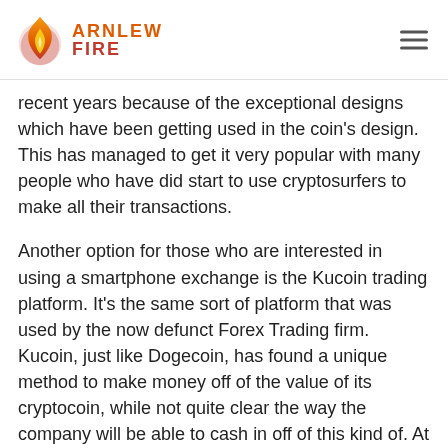ARNLEW FIRE
recent years because of the exceptional designs which have been getting used in the coin's design. This has managed to get it very popular with many people who have did start to use cryptosurfers to make all their transactions.
Another option for those who are interested in using a smartphone exchange is the Kucoin trading platform. It's the same sort of platform that was used by the now defunct Forex Trading firm. Kucoin, just like Dogecoin, has found a unique method to make money off of the value of its cryptocoin, while not quite clear the way the company will be able to cash in off of this kind of. At this point, the only real way to find out is if the business is going to start another product or if they are likely to find an alternate means.